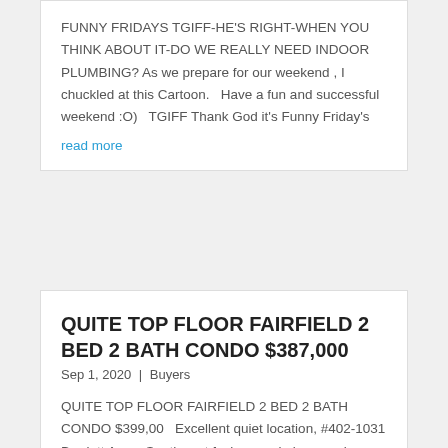FUNNY FRIDAYS TGIFF-HE'S RIGHT-WHEN YOU THINK ABOUT IT-DO WE REALLY NEED INDOOR PLUMBING? As we prepare for our weekend , I chuckled at this Cartoon.   Have a fun and successful weekend :O)   TGIFF Thank God it's Funny Friday's
read more
QUITE TOP FLOOR FAIRFIELD 2 BED 2 BATH CONDO $387,000
Sep 1, 2020 | Buyers
QUITE TOP FLOOR FAIRFIELD 2 BED 2 BATH CONDO $399,00   Excellent quiet location, #402-1031 Burdett Ave    Southwest facing condo in move in condition.  Wood flooring in the entrance and dining room and new carpets in living room and bedrooms